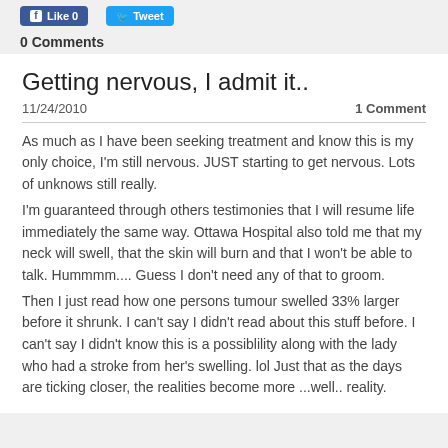Like 0   Tweet
0 Comments
Getting nervous, I admit it..
11/24/2010   1 Comment
As much as I have been seeking treatment and know this is my only choice, I'm still nervous.  JUST starting to get nervous.  Lots of unknows still really.
I'm guaranteed  through others testimonies that I will resume life immediately the same way.  Ottawa Hospital also told me that my neck will swell, that the skin will burn and that I won't be able to talk.  Hummmm.... Guess I don't need any of that to groom.
Then I just read how one persons tumour swelled 33% larger before it shrunk.  I can't say I didn't read about this stuff before.  I can't say I didn't know this is a possiblility along with the lady who had a stroke from her's swelling. lol  Just that as the days are ticking closer, the realities become more ...well.. reality.